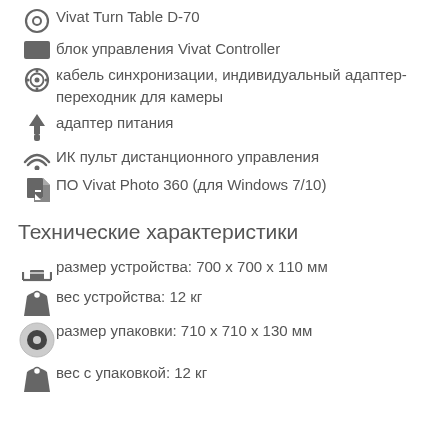Vivat Turn Table D-70
блок управления Vivat Controller
кабель синхронизации, индивидуальный адаптер-переходник для камеры
адаптер питания
ИК пульт дистанционного управления
ПО Vivat Photo 360 (для Windows 7/10)
Технические характеристики
размер устройства: 700 х 700 х 110 мм
вес устройства: 12 кг
размер упаковки: 710 х 710 х 130 мм
вес с упаковкой: 12 кг